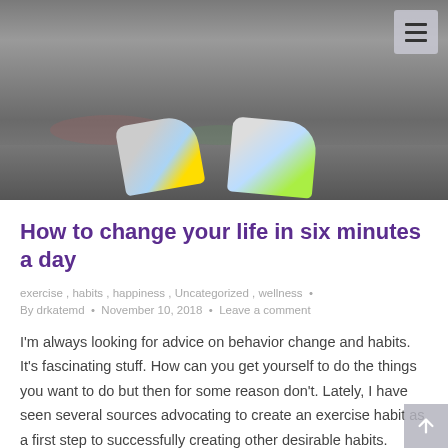[Figure (photo): Hero image showing running shoes of a runner on a wet road surface, seen from behind and below. The shoes are colorful (white, yellow, blue, red accents) and there are puddle reflections on the dark pavement.]
How to change your life in six minutes a day
exercise , habits , happiness , Uncategorized , wellness • By drkatemd • November 10, 2018 • Leave a comment
I'm always looking for advice on behavior change and habits. It's fascinating stuff. How can you get yourself to do the things you want to do but then for some reason don't. Lately, I have seen several sources advocating to create an exercise habit as a first step to successfully creating other desirable habits. Here…